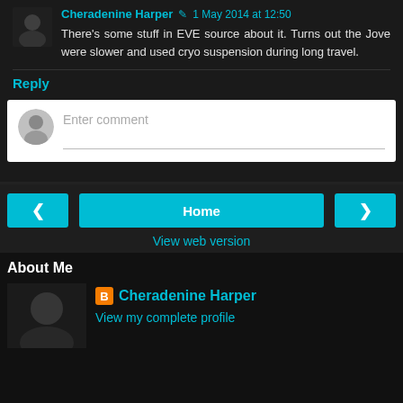Cheradenine Harper ✎ 1 May 2014 at 12:50
There's some stuff in EVE source about it. Turns out the Jove were slower and used cryo suspension during long travel.
Reply
Enter comment
Home
View web version
About Me
Cheradenine Harper
View my complete profile